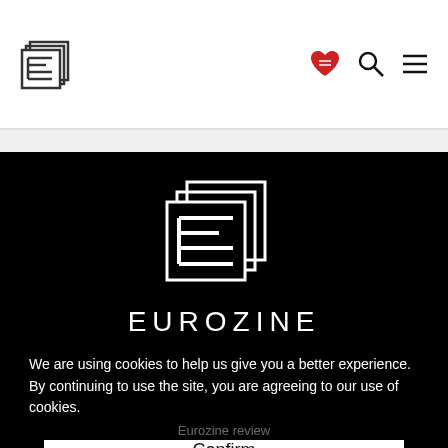[Figure (logo): Eurozine logo in header — stylized letter E made of stacked rectangles]
[Figure (logo): Heart/handshake icon in red, search icon, and hamburger menu icon in header]
[Figure (logo): Large Eurozine logo on black background — stylized letter E made of stacked rectangles in white outline]
EUROZINE
We are using cookies to help us give you a better experience. By continuing to use the site, you are agreeing to our use of cookies.
Eurozine review
Confirm
Associates